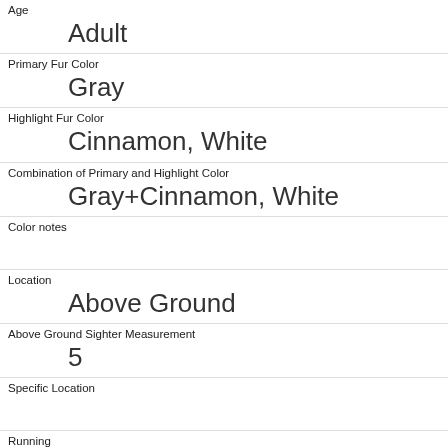| Age | Adult |
| Primary Fur Color | Gray |
| Highlight Fur Color | Cinnamon, White |
| Combination of Primary and Highlight Color | Gray+Cinnamon, White |
| Color notes |  |
| Location | Above Ground |
| Above Ground Sighter Measurement | 5 |
| Specific Location |  |
| Running | 0 |
| Chasing | 0 |
| Climbing |  |